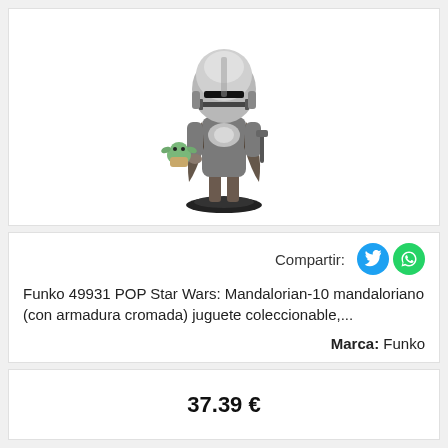[Figure (photo): Funko POP Star Wars Mandalorian figure with chrome armor holding Baby Yoda (Grogu), on a dark circular stand. Large chrome helmet, brown/grey body with a cape, holding a small green alien figure.]
Compartir:
Funko 49931 POP Star Wars: Mandalorian-10 mandaloriano (con armadura cromada) juguete coleccionable,...
Marca: Funko
37.39 €